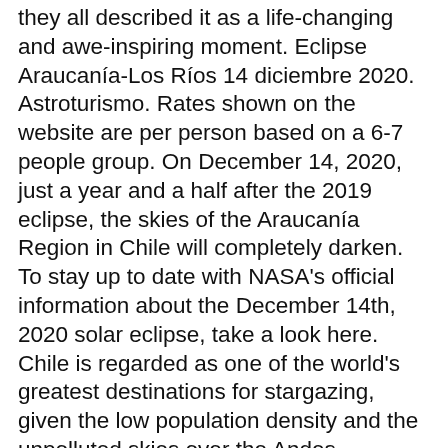they all described it as a life-changing and awe-inspiring moment. Eclipse Araucanía-Los Ríos 14 diciembre 2020. Astroturismo. Rates shown on the website are per person based on a 6-7 people group. On December 14, 2020, just a year and a half after the 2019 eclipse, the skies of the Araucanía Region in Chile will completely darken. To stay up to date with NASA's official information about the December 14th, 2020 solar eclipse, take a look here. Chile is regarded as one of the world's greatest destinations for stargazing, given the low population density and the unpolluted skies over the Andes. Disclaimer: I am the editor of WhenIsTheNextEclipse.com and author of Total Solar Eclipse 2020: A travel and field guide to observing totality in Chile and Argentina on December 14, 2020 … After breakfast, we'll drive to the site for our eclipse watch. December in South America usually means warm summer days drenched in sunlight. You MUST be somewhere within the central path (between the blue lines) to see the total phase of the eclipse. See Volcan Villarrica, and soak in the healing mineral-rich hot springs of the Termas de Huife. After a wide ranging search